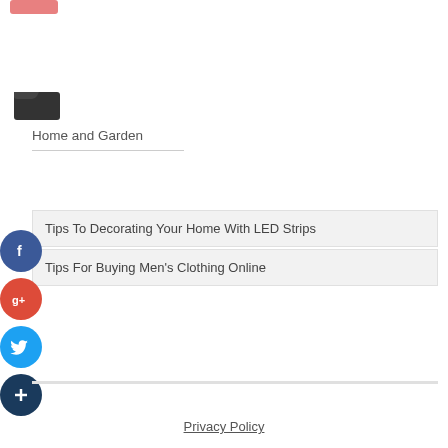[Figure (illustration): Pink rounded button stub at top left]
[Figure (illustration): Dark open folder icon]
Home and Garden
Tips To Decorating Your Home With LED Strips
Tips For Buying Men's Clothing Online
[Figure (illustration): Social media share buttons: Facebook (blue circle f), Google+ (red circle g+), Twitter (blue circle bird), Plus (dark blue circle +)]
Privacy Policy